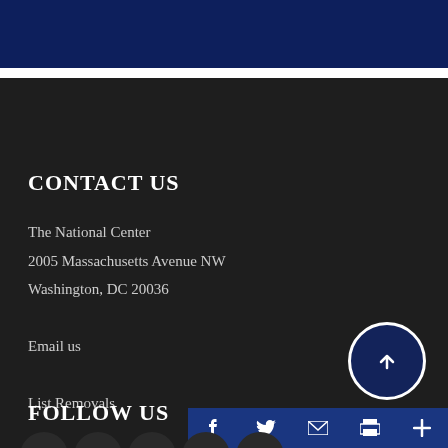CONTACT US
The National Center
2005 Massachusetts Avenue NW
Washington, DC 20036
Email us
List Removals
FOLLOW US